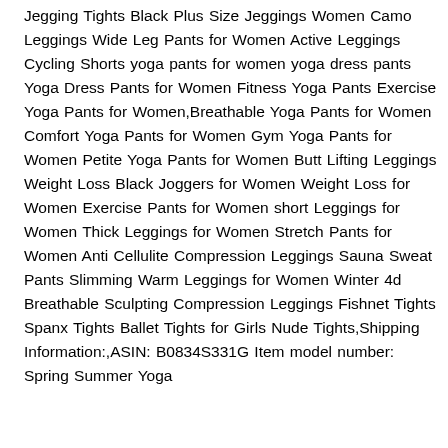Jegging Tights Black Plus Size Jeggings Women Camo Leggings Wide Leg Pants for Women Active Leggings Cycling Shorts yoga pants for women yoga dress pants Yoga Dress Pants for Women Fitness Yoga Pants Exercise Yoga Pants for Women,Breathable Yoga Pants for Women Comfort Yoga Pants for Women Gym Yoga Pants for Women Petite Yoga Pants for Women Butt Lifting Leggings Weight Loss Black Joggers for Women Weight Loss for Women Exercise Pants for Women short Leggings for Women Thick Leggings for Women Stretch Pants for Women Anti Cellulite Compression Leggings Sauna Sweat Pants Slimming Warm Leggings for Women Winter 4d Breathable Sculpting Compression Leggings Fishnet Tights Spanx Tights Ballet Tights for Girls Nude Tights,Shipping Information:,ASIN: B0834S331G Item model number: Spring Summer Yoga